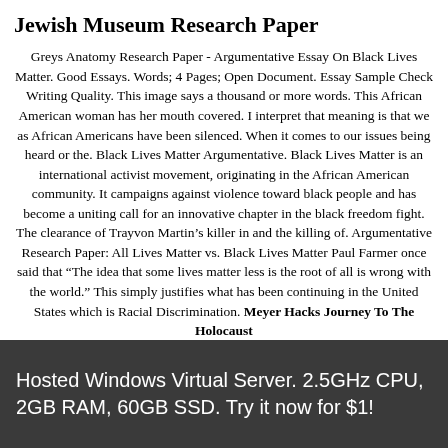Jewish Museum Research Paper
Greys Anatomy Research Paper - Argumentative Essay On Black Lives Matter. Good Essays. Words; 4 Pages; Open Document. Essay Sample Check Writing Quality. This image says a thousand or more words. This African American woman has her mouth covered. I interpret that meaning is that we as African Americans have been silenced. When it comes to our issues being heard or the. Black Lives Matter Argumentative. Black Lives Matter is an international activist movement, originating in the African American community. It campaigns against violence toward black people and has become a uniting call for an innovative chapter in the black freedom fight. The clearance of Trayvon Martin's killer in and the killing of. Argumentative Research Paper: All Lives Matter vs. Black Lives Matter Paul Farmer once said that “The idea that some lives matter less is the root of all is wrong with the world.” This simply justifies what has been continuing in the United States which is Racial Discrimination. Meyer Hacks Journey To The Holocaust
Hosted Windows Virtual Server. 2.5GHz CPU, 2GB RAM, 60GB SSD. Try it now for $1!